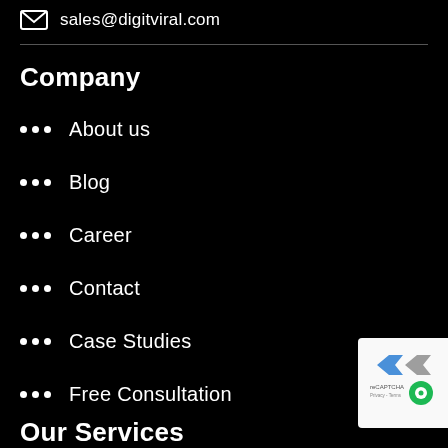sales@digitviral.com
Company
About us
Blog
Career
Contact
Case Studies
Free Consultation
Our Services
[Figure (other): reCAPTCHA badge widget in bottom right corner]